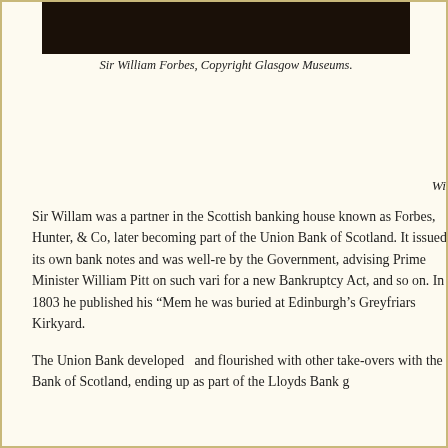[Figure (photo): Dark portrait photograph of Sir William Forbes, partially visible at top of page.]
Sir William Forbes, Copyright Glasgow Museums.
Wi
Sir Willam was a partner in the Scottish banking house known as Forbes, Hunter, & Co, later becoming part of the Union Bank of Scotland. It issued its own bank notes and was well-re by the Government, advising Prime Minister William Pitt on such vari for a new Bankruptcy Act, and so on. In 1803 he published his “Mem he was buried at Edinburgh’s Greyfriars Kirkyard.
The Union Bank developed  and flourished with other take-overs with the Bank of Scotland, ending up as part of the Lloyds Bank g